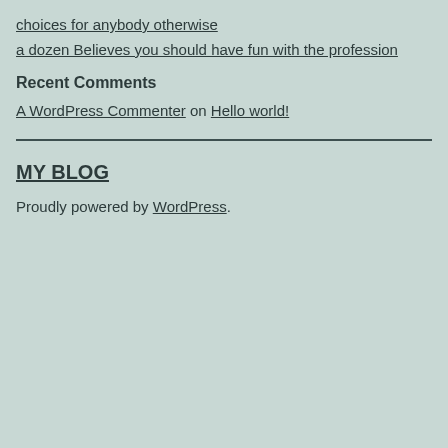choices for anybody otherwise
a dozen Believes you should have fun with the profession
Recent Comments
A WordPress Commenter on Hello world!
MY BLOG
Proudly powered by WordPress.